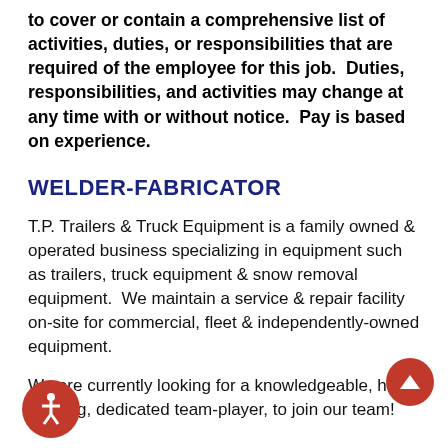to cover or contain a comprehensive list of activities, duties, or responsibilities that are required of the employee for this job. Duties, responsibilities, and activities may change at any time with or without notice. Pay is based on experience.
WELDER-FABRICATOR
T.P. Trailers & Truck Equipment is a family owned & operated business specializing in equipment such as trailers, truck equipment & snow removal equipment. We maintain a service & repair facility on-site for commercial, fleet & independently-owned equipment.
We are currently looking for a knowledgeable, hard-working, dedicated team-player, to join our team!